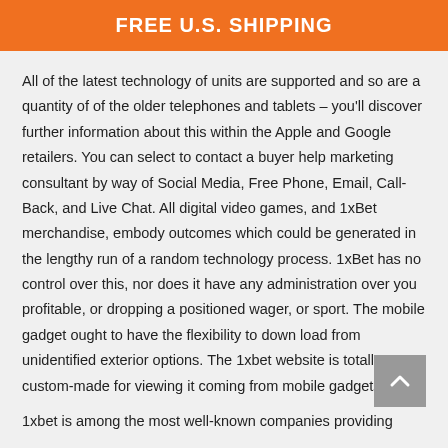FREE U.S. SHIPPING
All of the latest technology of units are supported and so are a quantity of of the older telephones and tablets – you'll discover further information about this within the Apple and Google retailers. You can select to contact a buyer help marketing consultant by way of Social Media, Free Phone, Email, Call-Back, and Live Chat. All digital video games, and 1xBet merchandise, embody outcomes which could be generated in the lengthy run of a random technology process. 1xBet has no control over this, nor does it have any administration over you profitable, or dropping a positioned wager, or sport. The mobile gadget ought to have the flexibility to down load from unidentified exterior options. The 1xbet website is totally custom-made for viewing it coming from mobile gadgets.
1xbet is among the most well-known companies providing